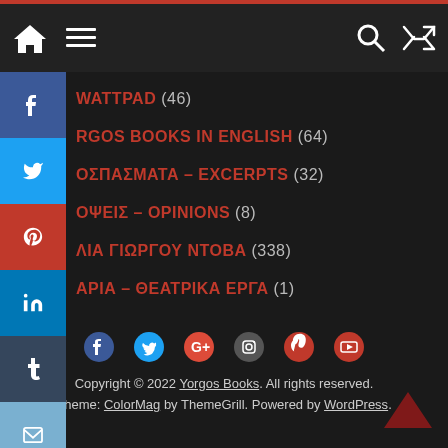Navigation bar with home, menu, search, shuffle icons
WATTPAD (46)
RGOS BOOKS IN ENGLISH (64)
ΟΣΠΑΣΜΑΤΑ – EXCERPTS (32)
ΟΨΕΙΣ – OPINIONS (8)
ΛΙΑ ΓΙΩΡΓΟΥ ΝΤΟΒΑ (338)
ΑΡΙΑ – ΘΕΑΤΡΙΚΑ ΕΡΓΑ (1)
Copyright © 2022 Yorgos Books. All rights reserved.
Theme: ColorMag by ThemeGrill. Powered by WordPress.